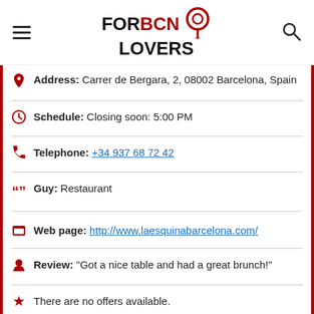FOR BCN LOVERS
Address: Carrer de Bergara, 2, 08002 Barcelona, Spain
Schedule: Closing soon: 5:00 PM
Telephone: +34 937 68 72 42
Guy: Restaurant
Web page: http://www.laesquinabarcelona.com/
Review: "Got a nice table and had a great brunch!"
There are no offers available.
Near La Esquina:
a 18 meters away stores to buy narciso rodriguez: SEPHORA FLAGSHIP TRIANGLE C.C.